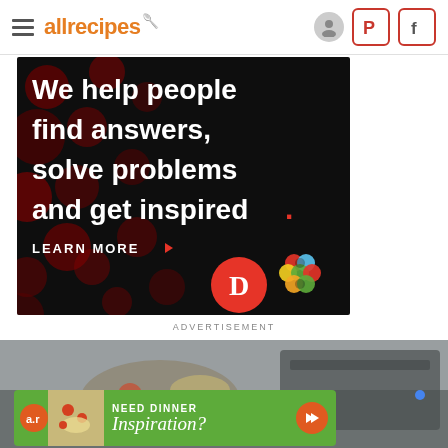allrecipes
[Figure (screenshot): Advertisement banner on dark background with red bokeh dots. Text reads: We help people find answers, solve problems and get inspired. LEARN MORE. Shows Dotdash (D) and Meredith logos.]
ADVERTISEMENT
[Figure (photo): Food/cooking photo showing pasta salad near a stove, partially cropped at bottom of page.]
[Figure (screenshot): Green advertisement bar with Allrecipes logo, pasta salad image, text NEED DINNER Inspiration? with orange arrow button.]